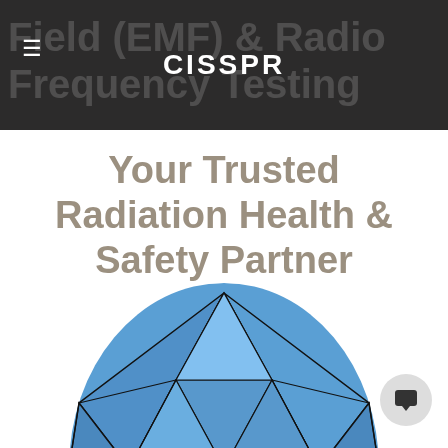CISSPR
Your Trusted Radiation Health & Safety Partner
[Figure (photo): Circular cropped photo of a geodesic dome or glass structure with triangular blue panels and dark metal framework, against a blue sky, partially visible at the bottom of the page.]